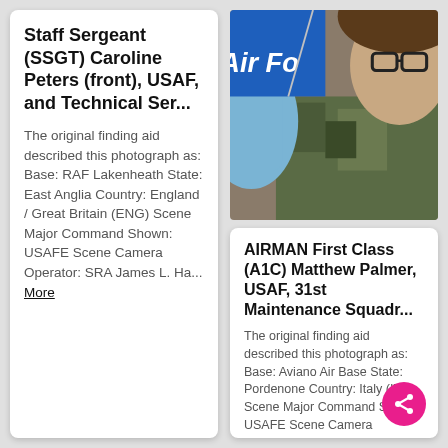Staff Sergeant (SSGT) Caroline Peters (front), USAF, and Technical Ser...
The original finding aid described this photograph as: Base: RAF Lakenheath State: East Anglia Country: England / Great Britain (ENG) Scene Major Command Shown: USAFE Scene Camera Operator: SRA James L. Ha... More
[Figure (photo): Photograph of a person in military camouflage uniform wearing glasses, with a blue gloved hand visible and a blue fabric with partial text 'Air Fo' visible]
AIRMAN First Class (A1C) Matthew Palmer, USAF, 31st Maintenance Squadr...
The original finding aid described this photograph as: Base: Aviano Air Base State: Pordenone Country: Italy (ITA) Scene Major Command Shown: USAFE Scene Camera Operator: SSGT Charlein C. Sheet USAF Rel... More